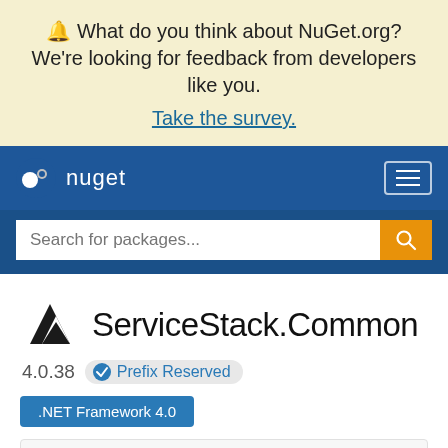🔔 What do you think about NuGet.org? We're looking for feedback from developers like you. Take the survey.
[Figure (screenshot): NuGet navigation bar with logo and hamburger menu]
[Figure (screenshot): Search bar with placeholder text 'Search for packages...' and orange search button]
ServiceStack.Common
4.0.38   ✔ Prefix Reserved
.NET Framework 4.0
ⓘ There is a newer version of this package available.